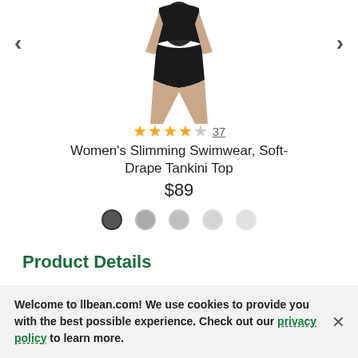[Figure (photo): Product photo of a black Women's Slimming Swimwear Soft-Drape Tankini Top, showing the torso and lower body of a model wearing the black swimsuit top with draped fabric.]
★★★★☆ 37
Women's Slimming Swimwear, Soft-Drape Tankini Top
$89
[Figure (other): Five color swatch dots: dark charcoal (selected), medium gray, light silver, lighter gray, very light gray]
Product Details
Our confidence-building slimming printed tankini helps you look and feel your best with a compressive underlayer for added shaping and extra control, and a drapey, free-flowing top layer for flattering...
Welcome to llbean.com! We use cookies to provide you with the best possible experience. Check out our privacy policy to learn more.